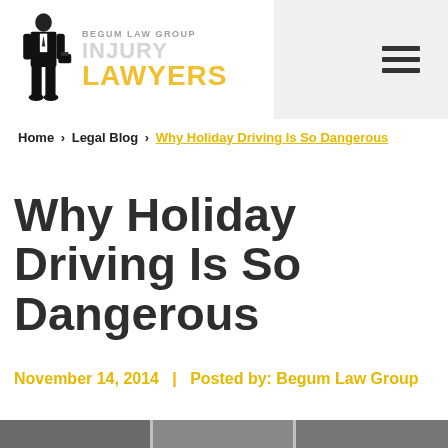[Figure (logo): Begum Law Group Injury Lawyers logo with silhouette of lawyer and yellow text]
Home > Legal Blog > Why Holiday Driving Is So Dangerous
Why Holiday Driving Is So Dangerous
November 14, 2014   |   Posted by: Begum Law Group
[Figure (photo): Partial photo strip at the bottom of the page showing a road or car scene]